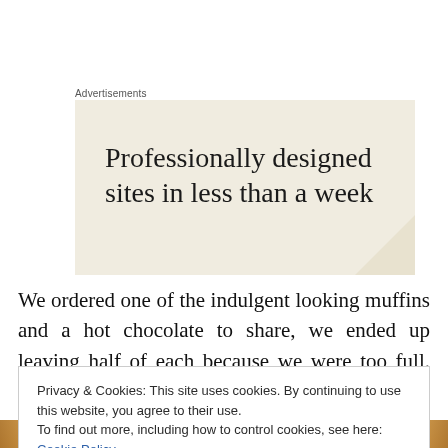Advertisements
[Figure (illustration): Advertisement banner with cream/beige background reading 'Professionally designed sites in less than a week']
We ordered one of the indulgent looking muffins and a hot chocolate to share, we ended up leaving half of each because we were too full. I'm sure I'll regret leaving this
Privacy & Cookies: This site uses cookies. By continuing to use this website, you agree to their use.
To find out more, including how to control cookies, see here: Cookie Policy
Close and accept
[Figure (photo): Food photo at the bottom of the page showing baked goods]